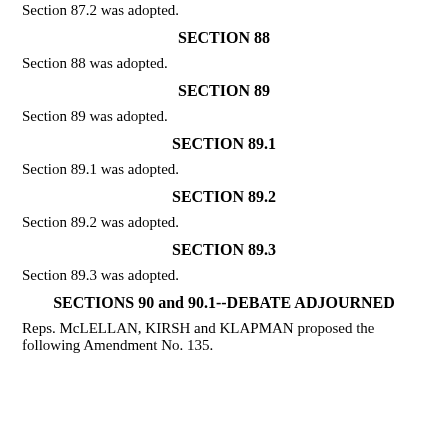Section 87.2 was adopted.
SECTION 88
Section 88 was adopted.
SECTION 89
Section 89 was adopted.
SECTION 89.1
Section 89.1 was adopted.
SECTION 89.2
Section 89.2 was adopted.
SECTION 89.3
Section 89.3 was adopted.
SECTIONS 90 and 90.1--DEBATE ADJOURNED
Reps. McLELLAN, KIRSH and KLAPMAN proposed the following Amendment No. 135.